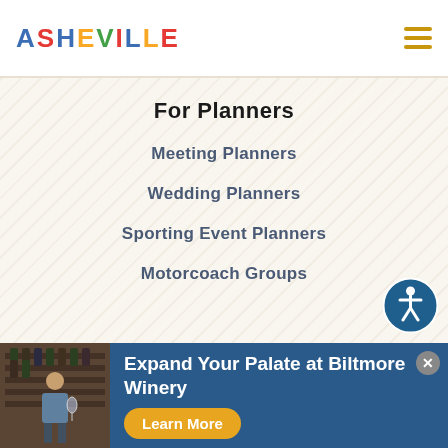ASHEVILLE
For Planners
Meeting Planners
Wedding Planners
Sporting Event Planners
Motorcoach Groups
For Partners
Explore Asheville CVB
Buncombe County TDA
[Figure (infographic): Advertisement banner for Biltmore Winery with photo of a man tasting wine, dark blue background, text: Expand Your Palate at Biltmore Winery, Learn More button in gold]
[Figure (illustration): Circular blue accessibility icon button with person/wheelchair symbol]